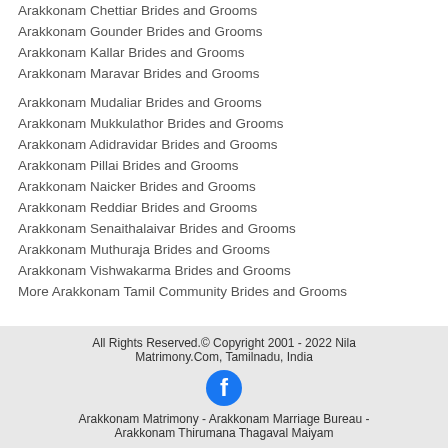Arakkonam Chettiar Brides and Grooms
Arakkonam Gounder Brides and Grooms
Arakkonam Kallar Brides and Grooms
Arakkonam Maravar Brides and Grooms
Arakkonam Mudaliar Brides and Grooms
Arakkonam Mukkulathor Brides and Grooms
Arakkonam Adidravidar Brides and Grooms
Arakkonam Pillai Brides and Grooms
Arakkonam Naicker Brides and Grooms
Arakkonam Reddiar Brides and Grooms
Arakkonam Senaithalaivar Brides and Grooms
Arakkonam Muthuraja Brides and Grooms
Arakkonam Vishwakarma Brides and Grooms
More Arakkonam Tamil Community Brides and Grooms
All Rights Reserved.© Copyright 2001 - 2022 Nila Matrimony.Com, Tamilnadu, India
Arakkonam Matrimony - Arakkonam Marriage Bureau - Arakkonam Thirumana Thagaval Maiyam